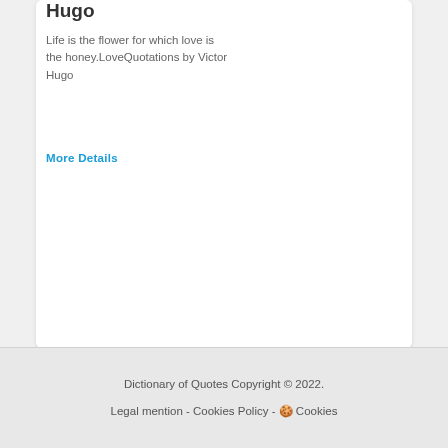Hugo
Life is the flower for which love is the honey.LoveQuotations by Victor Hugo
More Details
You have got to succeed in doing what is necessary. Winston Churchill
It's no use saying We are doing our best. You have got to succeed in doing what is …
More Details
Dictionary of Quotes Copyright © 2022. Legal mention - Cookies Policy - 🍪 Cookies